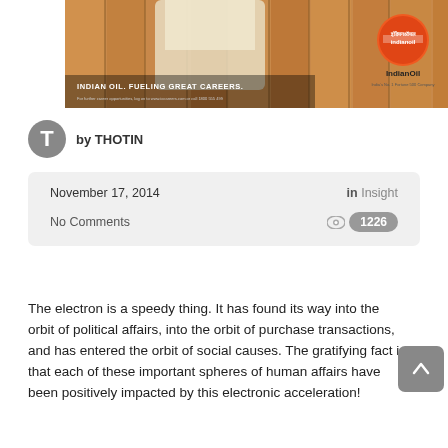[Figure (photo): Advertisement for Indian Oil showing a person in a white shirt against a wooden background. Text reads 'INDIAN OIL. FUELING GREAT CAREERS.' with the IndianOil logo (orange circle with white text) on the right side.]
by THOTIN
November 17, 2014    in Insight
No Comments    1226
The electron is a speedy thing. It has found its way into the orbit of political affairs, into the orbit of purchase transactions, and has entered the orbit of social causes. The gratifying fact is that each of these important spheres of human affairs have been positively impacted by this electronic acceleration!